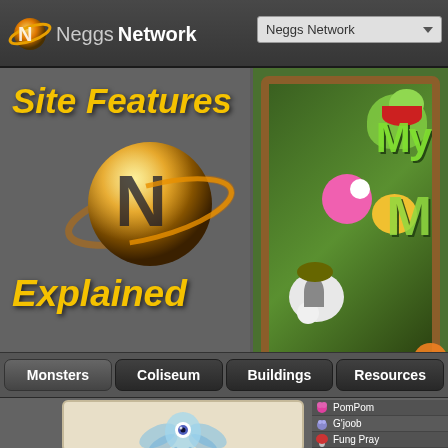Neggs Network
[Figure (screenshot): Neggs Network website screenshot showing Site Features Explained page with logo, navigation tabs (Monsters, Coliseum, Buildings, Resources), a My Singing Monsters game banner image, Jellbilly monster card, and Newest Monsters list with PomPom, G'joob, Fung Pra...]
Site Features Explained
Monsters
Coliseum
Buildings
Resources
Jellbilly
Newest M
PomPom
G'joob
Fung Pray